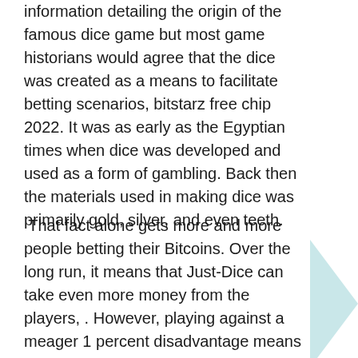information detailing the origin of the famous dice game but most game historians would agree that the dice was created as a means to facilitate betting scenarios, bitstarz free chip 2022. It was as early as the Egyptian times when dice was developed and used as a form of gambling. Back then the materials used in making dice was primarily gold, silver, and even teeth.
That fact alone gets more and more people betting their Bitcoins. Over the long run, it means that Just-Dice can take even more money from the players, . However, playing against a meager 1 percent disadvantage means that once a high roller like Nakowa inevitably hits a good streak, he can wield his massive bankroll like a club by repeatedly betting big with almost no thought to his losses until he eventually does serious damage to the casino's coffers. Perhaps Nakowa is a single individual with deep